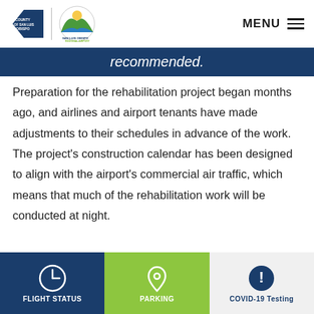County of San Luis Obispo / San Luis Obispo County Regional Airport — MENU
recommended.
Preparation for the rehabilitation project began months ago, and airlines and airport tenants have made adjustments to their schedules in advance of the work. The project's construction calendar has been designed to align with the airport's commercial air traffic, which means that much of the rehabilitation work will be conducted at night. Construction closures will occur throughout the
FLIGHT STATUS | PARKING | COVID-19 Testing